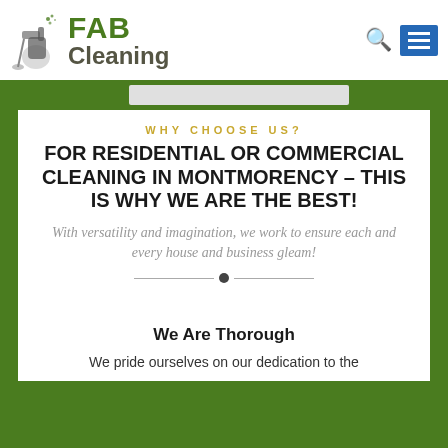[Figure (logo): FAB Cleaning logo with cleaning spray bottle icon, green FAB text and grey Cleaning text]
WHY CHOOSE US?
FOR RESIDENTIAL OR COMMERCIAL CLEANING IN MONTMORENCY – THIS IS WHY WE ARE THE BEST!
With versatility and imagination, we work to ensure each and every house and business gleam!
We Are Thorough
We pride ourselves on our dedication to the